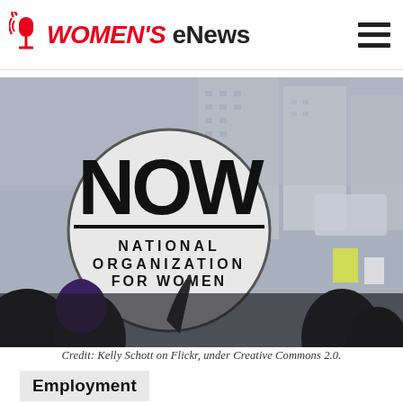WOMEN'S eNews
[Figure (photo): A protest crowd at an outdoor rally. A person holds up a large circular sign reading 'NOW — National Organization for Women'. Buildings visible in the background. People wearing winter clothing.]
Credit: Kelly Schott on Flickr, under Creative Commons 2.0.
Employment